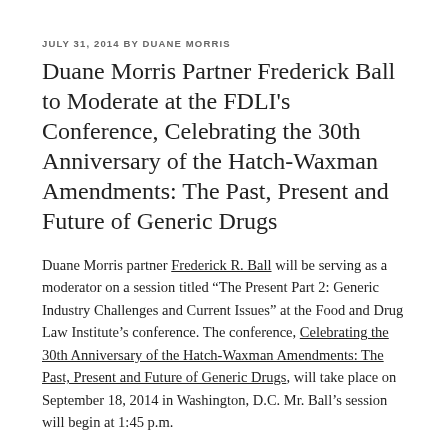JULY 31, 2014 BY DUANE MORRIS
Duane Morris Partner Frederick Ball to Moderate at the FDLI's Conference, Celebrating the 30th Anniversary of the Hatch-Waxman Amendments: The Past, Present and Future of Generic Drugs
Duane Morris partner Frederick R. Ball will be serving as a moderator on a session titled “The Present Part 2: Generic Industry Challenges and Current Issues” at the Food and Drug Law Institute’s conference. The conference, Celebrating the 30th Anniversary of the Hatch-Waxman Amendments: The Past, Present and Future of Generic Drugs, will take place on September 18, 2014 in Washington, D.C. Mr. Ball’s session will begin at 1:45 p.m.